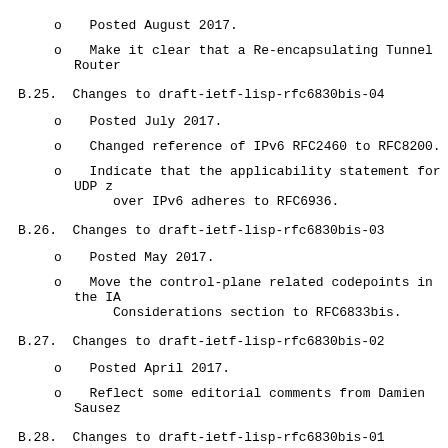o  Posted August 2017.
o  Make it clear that a Re-encapsulating Tunnel Router
B.25.  Changes to draft-ietf-lisp-rfc6830bis-04
o  Posted July 2017.
o  Changed reference of IPv6 RFC2460 to RFC8200.
o  Indicate that the applicability statement for UDP z
      over IPv6 adheres to RFC6936.
B.26.  Changes to draft-ietf-lisp-rfc6830bis-03
o  Posted May 2017.
o  Move the control-plane related codepoints in the IA
      Considerations section to RFC6833bis.
B.27.  Changes to draft-ietf-lisp-rfc6830bis-02
o  Posted April 2017.
o  Reflect some editorial comments from Damien Sausez
B.28.  Changes to draft-ietf-lisp-rfc6830bis-01
o  Posted March 2017.